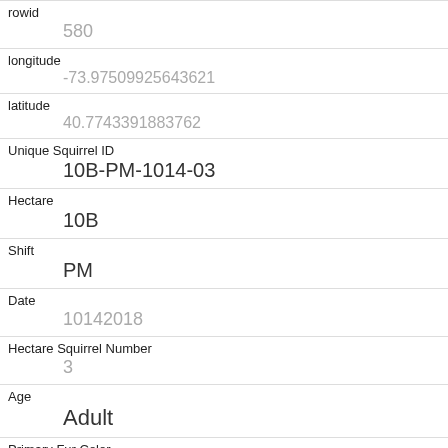| Field | Value |
| --- | --- |
| rowid | 580 |
| longitude | -73.97509925643621 |
| latitude | 40.7743391883762 |
| Unique Squirrel ID | 10B-PM-1014-03 |
| Hectare | 10B |
| Shift | PM |
| Date | 10142018 |
| Hectare Squirrel Number | 3 |
| Age | Adult |
| Primary Fur Color | Gray |